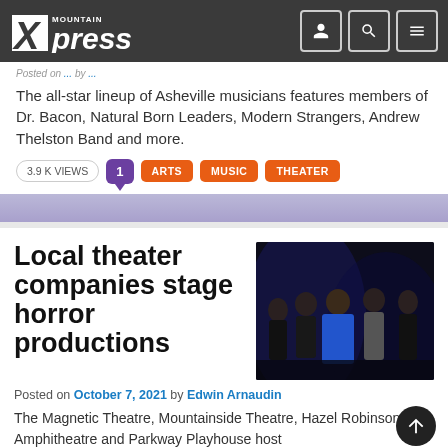Mountain Xpress
The all-star lineup of Asheville musicians features members of Dr. Bacon, Natural Born Leaders, Modern Strangers, Andrew Thelston Band and more.
3.9 K VIEWS  1  ARTS  MUSIC  THEATER
Local theater companies stage horror productions
[Figure (photo): Group of performers on stage in dark lighting, one wearing a blue dress]
Posted on October 7, 2021 by Edwin Arnaudin
The Magnetic Theatre, Mountainside Theatre, Hazel Robinson Amphitheatre and Parkway Playhouse host